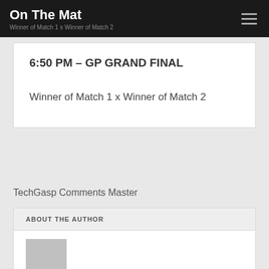On The Mat
Winner of Match 1 x Winner of Match 2
6:50 PM – GP GRAND FINAL
Winner of Match 1 x Winner of Match 2
TechGasp Comments Master
ABOUT THE AUTHOR